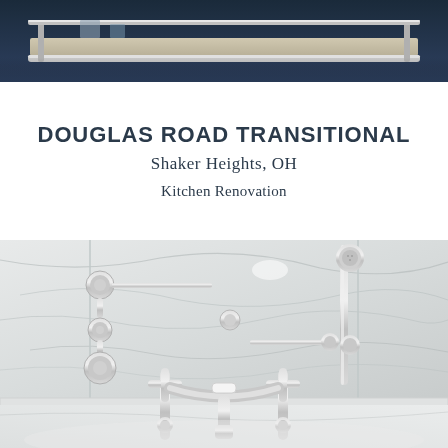[Figure (photo): Close-up photo of kitchen or bathroom hardware/shelf with dark navy background and chrome/silver metal details]
DOUGLAS ROAD TRANSITIONAL
Shaker Heights, OH
Kitchen Renovation
[Figure (photo): Bathroom photo showing marble tile wall with chrome shower fixtures, handheld shower head on slide bar, shower valves, and a clawfoot tub faucet in the foreground]